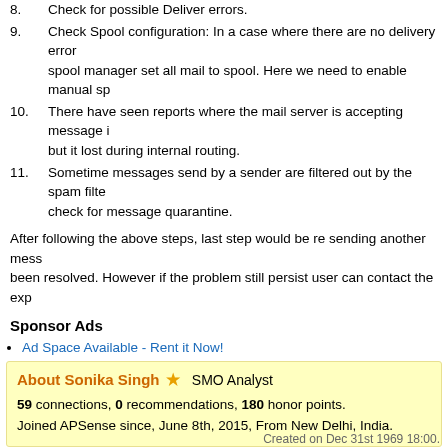8. Check for possible Deliver errors.
9. Check Spool configuration: In a case where there are no delivery errors, spool manager set all mail to spool. Here we need to enable manual sp...
10. There have seen reports where the mail server is accepting message i... but it lost during internal routing.
11. Sometime messages send by a sender are filtered out by the spam filte... check for message quarantine.
After following the above steps, last step would be re sending another mess... been resolved. However if the problem still persist user can contact the expe...
Sponsor Ads
Ad Space Available - Rent it Now!
About Sonika Singh SMO Analyst
59 connections, 0 recommendations, 180 honor points.
Joined APSense since, June 8th, 2015, From New Delhi, India.
Created on Dec 31st 1969 18:00.